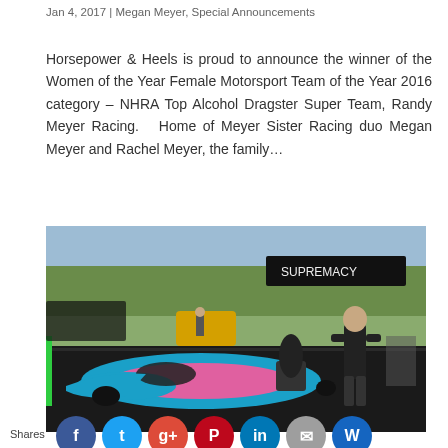Jan 4, 2017 | Megan Meyer, Special Announcements
Horsepower & Heels is proud to announce the winner of the Women of the Year Female Motorsport Team of the Year 2016 category – NHRA Top Alcohol Dragster Super Team, Randy Meyer Racing.   Home of Meyer Sister Racing duo Megan Meyer and Rachel Meyer, the family…
[Figure (photo): Photo of a pink and blue NHRA Top Alcohol Dragster on the track with a crew member standing beside it. Additional vehicles and spectators visible in the background at a drag racing event.]
Shares